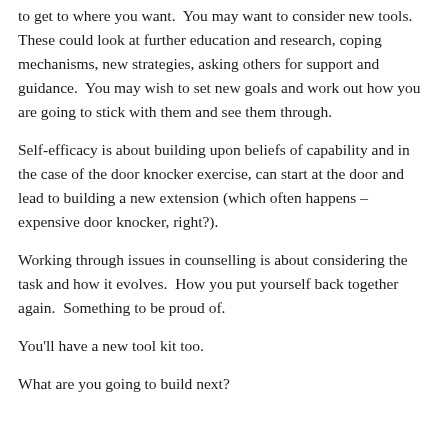to get to where you want.  You may want to consider new tools.  These could look at further education and research, coping mechanisms, new strategies, asking others for support and guidance.  You may wish to set new goals and work out how you are going to stick with them and see them through.
Self-efficacy is about building upon beliefs of capability and in the case of the door knocker exercise, can start at the door and lead to building a new extension (which often happens – expensive door knocker, right?).
Working through issues in counselling is about considering the task and how it evolves.  How you put yourself back together again.  Something to be proud of.
You'll have a new tool kit too.
What are you going to build next?